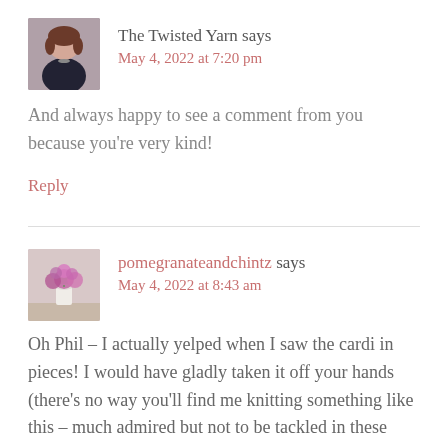[Figure (photo): Avatar photo of a young woman with dark hair]
The Twisted Yarn says
May 4, 2022 at 7:20 pm
And always happy to see a comment from you because you're very kind!
Reply
[Figure (photo): Avatar photo of pink flowers in a white vase]
pomegranateandchintz says
May 4, 2022 at 8:43 am
Oh Phil – I actually yelped when I saw the cardi in pieces! I would have gladly taken it off your hands (there's no way you'll find me knitting something like this – much admired but not to be tackled in these…